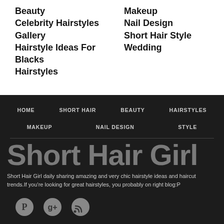Beauty
Celebrity Hairstyles
Gallery
Hairstyle Ideas For Blacks
Hairstyles
Makeup
Nail Design
Short Hair Style
Wedding
HOME  SHORT HAIR  BEAUTY  HAIRSTYLES  MAKEUP  NAIL DESIGN  STYLE
Short Hair Girl
Short Hair Girl daily sharing amazing and very chic hairstyle ideas and haircut trends.If you're looking for great hairstyles, you probably on right blog:P
[Figure (other): Social media icons: Pinterest, Google Plus, RSS feed]